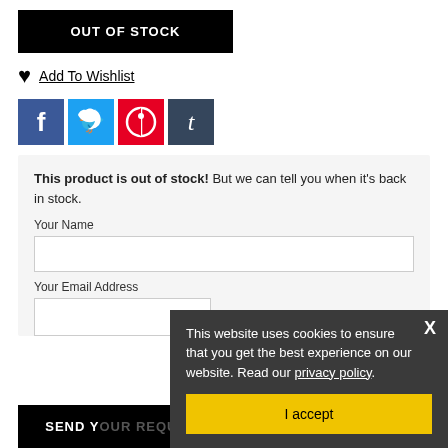OUT OF STOCK
Add To Wishlist
[Figure (other): Social media share icons: Facebook (blue), Twitter (light blue), Pinterest (red), Tumblr (dark blue)]
This product is out of stock! But we can tell you when it's back in stock.
Your Name
Your Email Address
SEND YOUR REQUEST
This website uses cookies to ensure that you get the best experience on our website. Read our privacy policy.
I accept